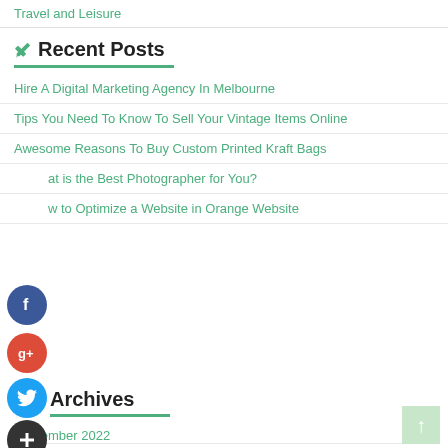Travel and Leisure
✏ Recent Posts
Hire A Digital Marketing Agency In Melbourne
Tips You Need To Know To Sell Your Vintage Items Online
Awesome Reasons To Buy Custom Printed Kraft Bags
What is the Best Photographer for You?
How to Optimize a Website in Orange Website
Archives
September 2022
August 2022